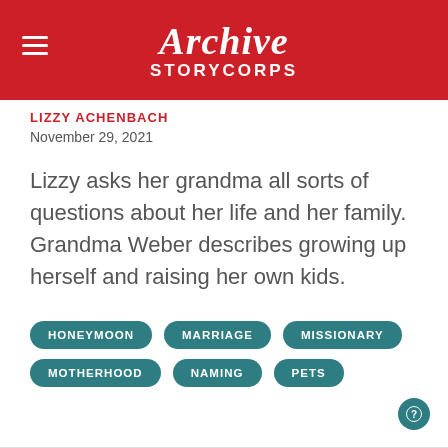Archive StoryCorps
LIZZY ACHENBACH
November 29, 2021
Lizzy asks her grandma all sorts of questions about her life and her family. Grandma Weber describes growing up herself and raising her own kids.
HONEYMOON
MARRIAGE
MISSIONARY
MOTHERHOOD
NAMING
PETS